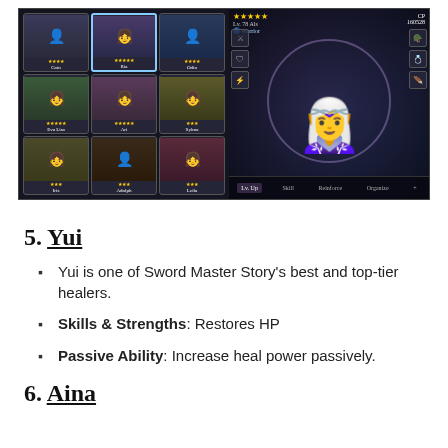[Figure (screenshot): Game screenshot from Sword Master Story showing character selection panel on the left with heroes (Cain, Ria, Odin, Eva Lisa, Ari, Sylma, Iris, Adolph, Leila) and main character display on the right showing a blonde female Warrior character at Lv.78, CP 160528]
5. Yui
Yui is one of Sword Master Story’s best and top-tier healers.
Skills & Strengths: Restores HP
Passive Ability: Increase heal power passively.
6. Aina